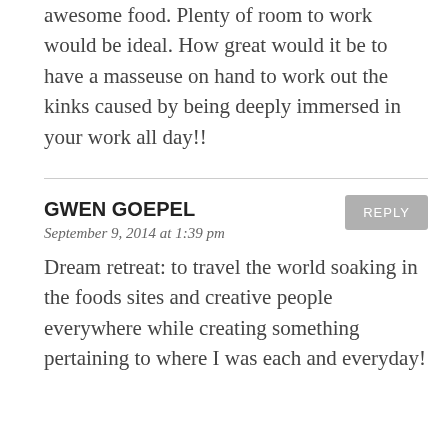awesome food. Plenty of room to work would be ideal. How great would it be to have a masseuse on hand to work out the kinks caused by being deeply immersed in your work all day!!
GWEN GOEPEL
September 9, 2014 at 1:39 pm
REPLY
Dream retreat: to travel the world soaking in the foods sites and creative people everywhere while creating something pertaining to where I was each and everyday!